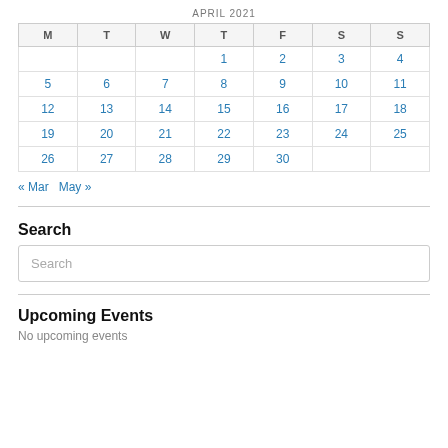APRIL 2021
| M | T | W | T | F | S | S |
| --- | --- | --- | --- | --- | --- | --- |
|  |  |  | 1 | 2 | 3 | 4 |
| 5 | 6 | 7 | 8 | 9 | 10 | 11 |
| 12 | 13 | 14 | 15 | 16 | 17 | 18 |
| 19 | 20 | 21 | 22 | 23 | 24 | 25 |
| 26 | 27 | 28 | 29 | 30 |  |  |
« Mar   May »
Search
Search
Upcoming Events
No upcoming events